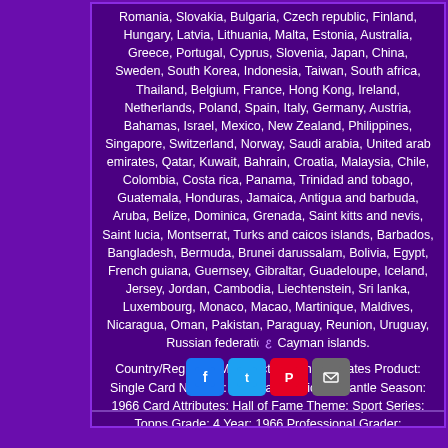Romania, Slovakia, Bulgaria, Czech republic, Finland, Hungary, Latvia, Lithuania, Malta, Estonia, Australia, Greece, Portugal, Cyprus, Slovenia, Japan, China, Sweden, South Korea, Indonesia, Taiwan, South africa, Thailand, Belgium, France, Hong Kong, Ireland, Netherlands, Poland, Spain, Italy, Germany, Austria, Bahamas, Israel, Mexico, New Zealand, Philippines, Singapore, Switzerland, Norway, Saudi arabia, United arab emirates, Qatar, Kuwait, Bahrain, Croatia, Malaysia, Chile, Colombia, Costa rica, Panama, Trinidad and tobago, Guatemala, Honduras, Jamaica, Antigua and barbuda, Aruba, Belize, Dominica, Grenada, Saint kitts and nevis, Saint lucia, Montserrat, Turks and caicos islands, Barbados, Bangladesh, Bermuda, Brunei darussalam, Bolivia, Egypt, French guiana, Guernsey, Gibraltar, Guadeloupe, Iceland, Jersey, Jordan, Cambodia, Liechtenstein, Sri lanka, Luxembourg, Monaco, Macao, Martinique, Maldives, Nicaragua, Oman, Pakistan, Paraguay, Reunion, Uruguay, Russian federation, Cayman islands.
Country/Region of Manufacture: United States Product: Single Card Number: #50 Player: Mickey Mantle Season: 1966 Card Attributes: Hall of Fame Theme: Sport Series: Topps Grade: 4 Year: 1966 Professional Grader: Professional Sports (PSA) Sport: Baseball Team: New York Yankees Card Manufacturer: Topps League: Major League Era: Post-WWII (1942-1980) Original/Reprint: Original
[Figure (logo): Small eBay-style icon]
[Figure (infographic): Social share buttons: Facebook, Twitter, Pinterest, Email]